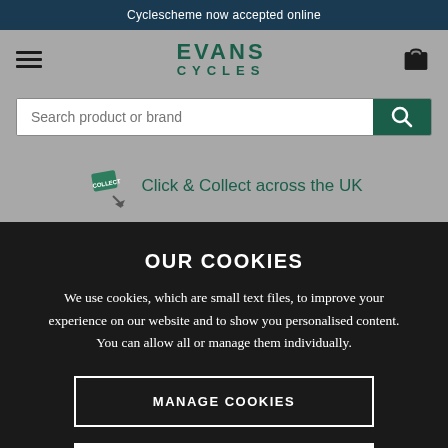Cyclescheme now accepted online
[Figure (logo): Evans Cycles logo with hamburger menu icon and shopping bag icon]
Search product or brand
Click & Collect across the UK
OUR COOKIES
We use cookies, which are small text files, to improve your experience on our website and to show you personalised content. You can allow all or manage them individually.
MANAGE COOKIES
ALLOW ALL